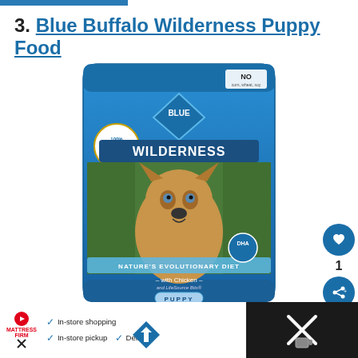3. Blue Buffalo Wilderness Puppy Food
[Figure (photo): Blue Buffalo Wilderness Puppy Food bag with image of a puppy wolf cub. Blue bag showing '100% Grain Free', 'Blue Wilderness', 'Nature's Evolutionary Diet - with Chicken and LifeSource Bits - Puppy', DHA badge.]
[Figure (infographic): Social sidebar with heart (like) button showing count of 1, and share button below.]
[Figure (photo): What's Next thumbnail with dog harness image. Label: WHAT'S NEXT → 5 Best Dog Harnesses f...]
[Figure (infographic): Bottom advertisement bar: Mattress Firm logo with In-store shopping, In-store pickup, Delivery checkmarks, navigation arrow diamond icon, and dark section with X icon on the right.]